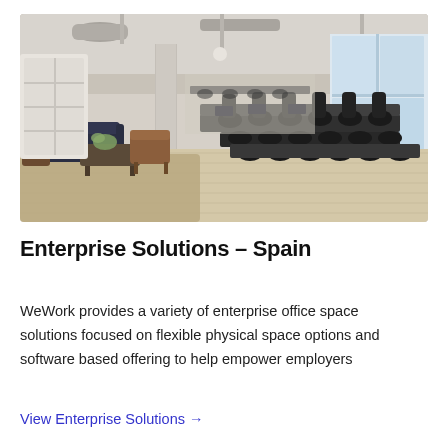[Figure (photo): Interior of a modern open-plan office space with hardwood floors, a seating area with dark sofa and leather chairs on a jute rug on the left, and rows of black office chairs at long conference/work tables on the right, with large windows, exposed ceiling with industrial HVAC ducts, and concrete columns.]
Enterprise Solutions – Spain
WeWork provides a variety of enterprise office space solutions focused on flexible physical space options and software based offering to help empower employers
View Enterprise Solutions →